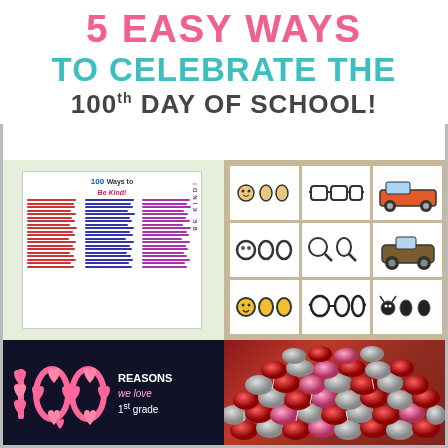5 EASY WAYS TO CELEBRATE THE 100th DAY OF SCHOOL!
[Figure (photo): A classroom poster reading '100 Ways to Be Kind' with handwritten list in multiple columns, with 'BE KIND!' written vertically on the right side.]
[Figure (photo): A grid of 9 children's artwork cards displayed on a wooden board, each showing drawings of the number 100 creatively illustrated (faces, vehicles, insects, etc.).]
[Figure (photo): A dark bulletin board display showing '100' made of pink hearts with text 'REASONS we love 1st grade' in white and pink lettering.]
[Figure (photo): A pile of red and silver Hershey's Kisses chocolates, presumably 100 of them for the 100th Day of School celebration.]